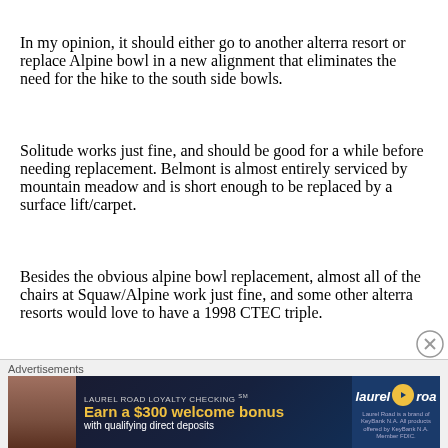In my opinion, it should either go to another alterra resort or replace Alpine bowl in a new alignment that eliminates the need for the hike to the south side bowls.
Solitude works just fine, and should be good for a while before needing replacement. Belmont is almost entirely serviced by mountain meadow and is short enough to be replaced by a surface lift/carpet.
Besides the obvious alpine bowl replacement, almost all of the chairs at Squaw/Alpine work just fine, and some other alterra resorts would love to have a 1998 CTEC triple.
Advertisements
[Figure (other): Laurel Road Loyalty Checking advertisement banner. Text: LAUREL ROAD LOYALTY CHECKING℠ Earn a $300 welcome bonus with qualifying direct deposits. Laurel Road logo with play button.]